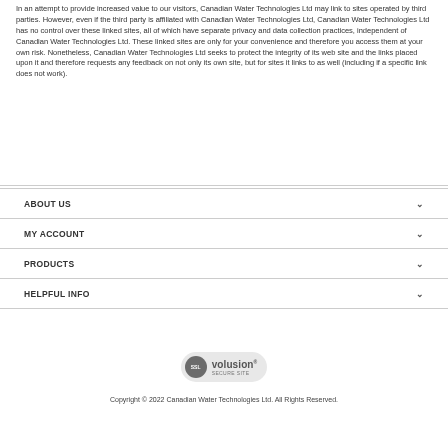In an attempt to provide increased value to our visitors, Canadian Water Technologies Ltd may link to sites operated by third parties. However, even if the third party is affiliated with Canadian Water Technologies Ltd, Canadian Water Technologies Ltd has no control over these linked sites, all of which have separate privacy and data collection practices, independent of Canadian Water Technologies Ltd. These linked sites are only for your convenience and therefore you access them at your own risk. Nonetheless, Canadian Water Technologies Ltd seeks to protect the integrity of its web site and the links placed upon it and therefore requests any feedback on not only its own site, but for sites it links to as well (including if a specific link does not work).
ABOUT US
MY ACCOUNT
PRODUCTS
HELPFUL INFO
[Figure (logo): SSL Volusion Secure Site badge with circular SSL icon and Volusion branding]
Copyright © 2022 Canadian Water Technologies Ltd. All Rights Reserved.